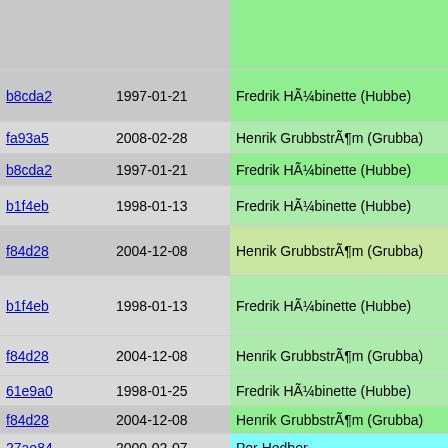| Commit | Date | Author | Code |
| --- | --- | --- | --- |
|  |  |  | #define ID
struct pro |
| b8cda2 | 1997-01-21 | Fredrik HÃ¼binette (Hubbe) | struct pro
{ |
| fa93a5 | 2008-02-28 | Henrik GrubbstrÃ¶m (Grubba) | struct p |
| b8cda2 | 1997-01-21 | Fredrik HÃ¼binette (Hubbe) | struct p |
| b1f4eb | 1998-01-13 | Fredrik HÃ¼binette (Hubbe) | INT32 h;
if(!id) |
| f84d28 | 2004-12-08 | Henrik GrubbstrÃ¶m (Grubba) | /* fprin |
| b1f4eb | 1998-01-13 | Fredrik HÃ¼binette (Hubbe) | h=id & (

if((p=id |
| f84d28 | 2004-12-08 | Henrik GrubbstrÃ¶m (Grubba) | if(p->
/* f |
| 61e9a0 | 1998-01-25 | Fredrik HÃ¼binette (Hubbe) | retu |
| f84d28 | 2004-12-08 | Henrik GrubbstrÃ¶m (Grubba) | } |
| 27ae84 | 2000-02-07 | Per Hedbor |  |
| a38237 | 2001-07-02 | Henrik GrubbstrÃ¶m (Grubba) | for(p=fi
{
  if(id= |